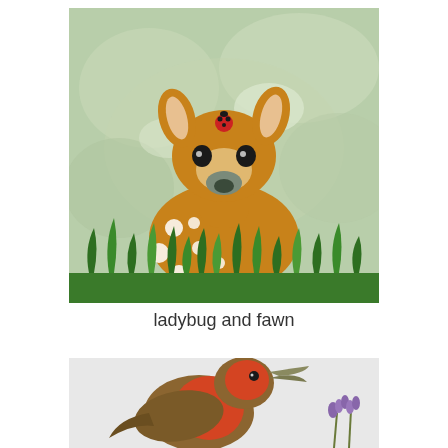[Figure (illustration): Watercolor painting of a young fawn (baby deer) with white spots on its back, sitting in green grass with a small red ladybug on top of its head, against a soft green watercolor background.]
ladybug and fawn
[Figure (illustration): Watercolor painting of a robin (bird) with a red/orange breast, brown wings, open beak, shown in profile against a light gray background, with purple flower buds visible at the bottom right.]